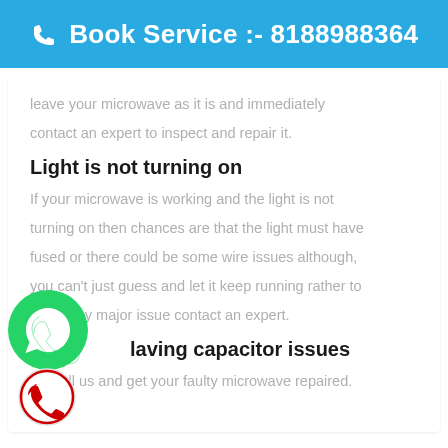📞 Book Service :- 8188988364
leave your microwave as it is and immediately contact an expert to inspect and repair it.
Light is not turning on
If your microwave is working and the light is not turning on then chances are that the light must have fused or there could be some wire issues although, you can't just guess and let it keep running rather to avoid any major issue contact an expert.
laving capacitor issues
Call us and get your faulty microwave repaired.
[Figure (logo): WhatsApp green logo icon]
[Figure (logo): Red phone call icon in circle]